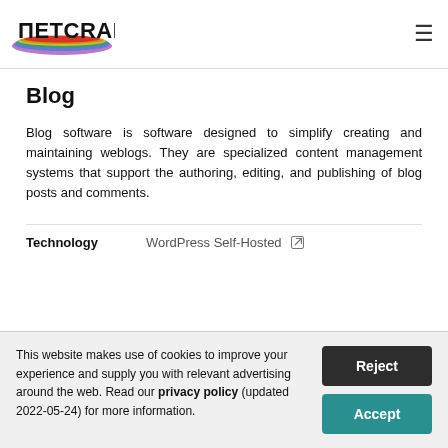Netcraft
Blog
Blog software is software designed to simplify creating and maintaining weblogs. They are specialized content management systems that support the authoring, editing, and publishing of blog posts and comments.
| Technology |  |
| --- | --- |
| Technology | WordPress Self-Hosted |
This website makes use of cookies to improve your experience and supply you with relevant advertising around the web. Read our privacy policy (updated 2022-05-24) for more information.